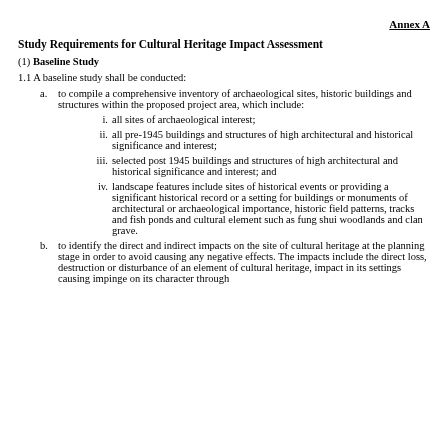Annex A
Study Requirements for Cultural Heritage Impact Assessment
(1) Baseline Study
1.1 A baseline study shall be conducted:
a. to compile a comprehensive inventory of archaeological sites, historic buildings and structures within the proposed project area, which include:
i. all sites of archaeological interest;
ii. all pre-1945 buildings and structures of high architectural and historical significance and interest;
iii. selected post 1945 buildings and structures of high architectural and historical significance and interest; and
iv. landscape features include sites of historical events or providing a significant historical record or a setting for buildings or monuments of architectural or archaeological importance, historic field patterns, tracks and fish ponds and cultural element such as fung shui woodlands and clan grave.
b. to identify the direct and indirect impacts on the site of cultural heritage at the planning stage in order to avoid causing any negative effects. The impacts include the direct loss, destruction or disturbance of an element of cultural heritage, impact in its settings causing impinge on its character through